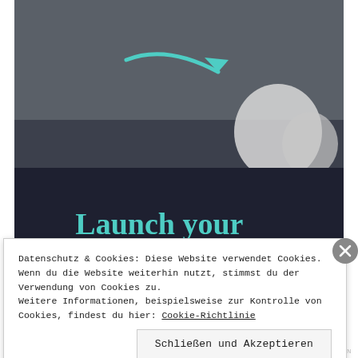[Figure (photo): Dark grey background photo with a teal/mint colored arrow pointing right, with a white rounded object (airpods or similar) partially visible in lower right]
Launch your online course with WordPress
Datenschutz & Cookies: Diese Website verwendet Cookies. Wenn du die Website weiterhin nutzt, stimmst du der Verwendung von Cookies zu. Weitere Informationen, beispielsweise zur Kontrolle von Cookies, findest du hier: Cookie-Richtlinie
Schließen und Akzeptieren